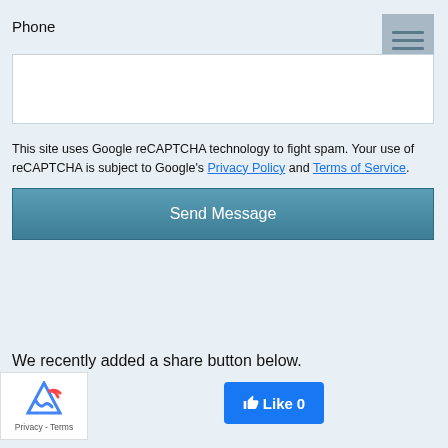Phone
[Figure (other): Hamburger menu icon with three horizontal lines on grey background]
[Figure (other): Empty text input field for phone number]
This site uses Google reCAPTCHA technology to fight spam. Your use of reCAPTCHA is subject to Google's Privacy Policy and Terms of Service.
Send Message
We recently added a share button below.
[Figure (other): Google reCAPTCHA badge with logo and Privacy - Terms links]
[Figure (other): Facebook Like button showing Like 0]